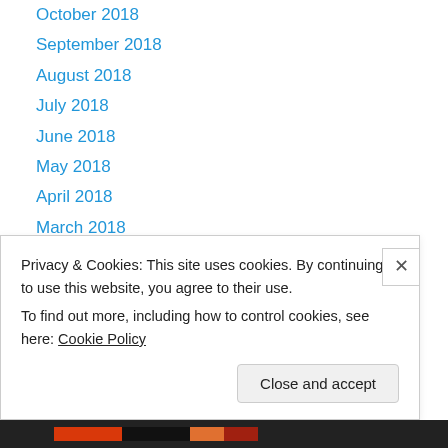October 2018
September 2018
August 2018
July 2018
June 2018
May 2018
April 2018
March 2018
February 2018
January 2018
December 2017
November 2017
October 2017
September 2017
Privacy & Cookies: This site uses cookies. By continuing to use this website, you agree to their use. To find out more, including how to control cookies, see here: Cookie Policy